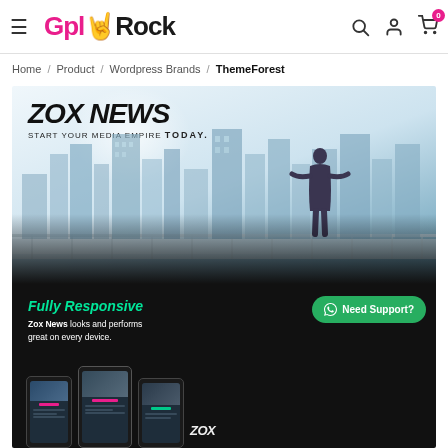GplRock — hamburger menu, search, account, cart (0)
Home / Product / Wordpress Brands / ThemeForest
[Figure (screenshot): Zox News WordPress theme product banner. Top half shows ZOX NEWS logo with tagline 'START YOUR MEDIA EMPIRE TODAY.' over a cityscape with a man standing overlooking city skyline. Bottom half is dark/black with 'Fully Responsive' in green italic text, 'Zox News looks and performs great on every device.' in white, a green 'Need Support?' button with WhatsApp icon, and phone mockups showing the theme.]